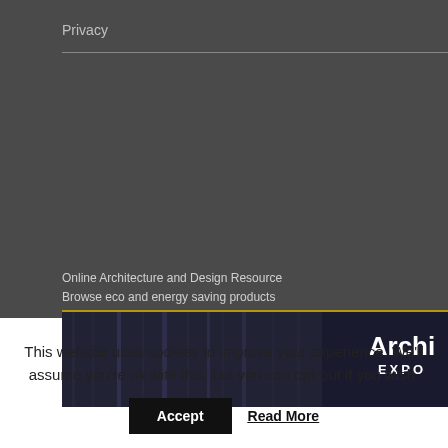Privacy
[Figure (illustration): ArchiExpo advertisement banner showing dark blue/grey architectural interior with 'Archi EXPO' logo on right side, with gold top border. Text above reads: Online Architecture and Design Resource / Browse eco and energy saving products]
This website uses cookies to improve your experience. We'll assume you're ok with this, but you can opt-out if you wish.
Accept  Read More